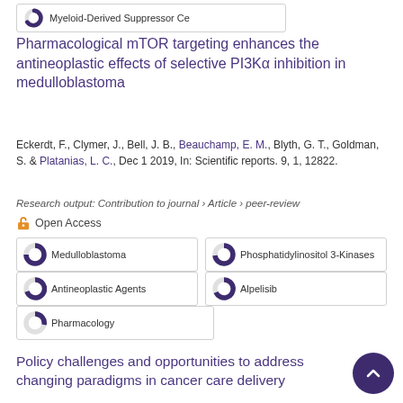[Figure (other): Partial donut/pie chart icon with label 'Myeloid-Derived Suppressor Ce' in a bordered box]
Pharmacological mTOR targeting enhances the antineoplastic effects of selective PI3Kα inhibition in medulloblastoma
Eckerdt, F., Clymer, J., Bell, J. B., Beauchamp, E. M., Blyth, G. T., Goldman, S. & Platanias, L. C., Dec 1 2019, In: Scientific reports. 9, 1, 12822.
Research output: Contribution to journal › Article › peer-review
Open Access
Medulloblastoma
Phosphatidylinositol 3-Kinases
Antineoplastic Agents
Alpelisib
Pharmacology
Policy challenges and opportunities to address changing paradigms in cancer care delivery